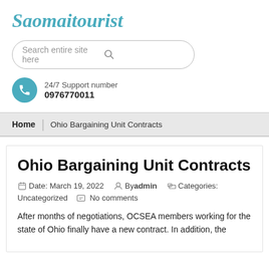Saomaitourist
Search entire site here
24/7 Support number
0976770011
Home | Ohio Bargaining Unit Contracts
Ohio Bargaining Unit Contracts
Date: March 19, 2022   By admin   Categories: Uncategorized   No comments
After months of negotiations, OCSEA members working for the state of Ohio finally have a new contract. In addition, the